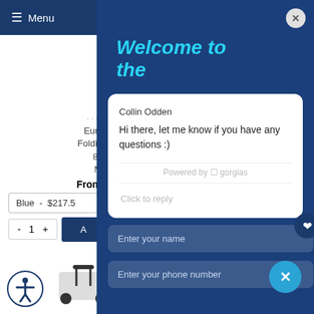Menu
Euro-Style Folding Rollin 8" Wh Medli
From $194.9
Blue - $217.5
- 1 +
Welcome to the
Collin Odden
Hi there, let me know if you have any questions :)
Powered by gorgias
Click to reply
Enter your name
Enter your phone number